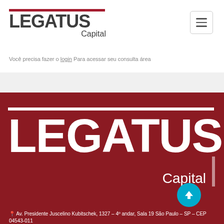[Figure (logo): Legatus Capital logo in top-left with dark red bar above bold LEGATUS text and smaller Capital subtitle]
[Figure (other): Hamburger menu toggle button in top-right corner]
Você precisa fazer o login Para acessar seu consulta área
[Figure (logo): Large Legatus Capital logo on dark red background with white horizontal bar, large white LEGATUS text and white Capital subtitle]
[Figure (other): Cyan circular scroll-to-top button with upward arrow]
Av. Presidente Juscelino Kubitschek, 1327 – 4º andar, Sala 19 São Paulo – SP – CEP 04543-011